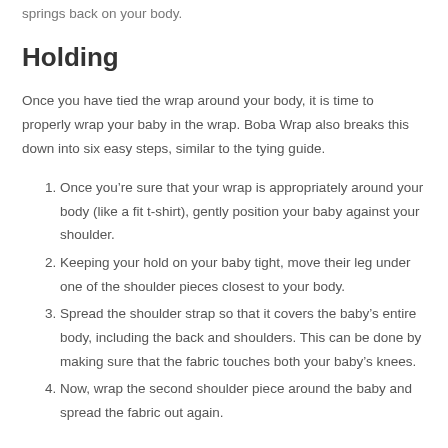springs back on your body.
Holding
Once you have tied the wrap around your body, it is time to properly wrap your baby in the wrap. Boba Wrap also breaks this down into six easy steps, similar to the tying guide.
Once you’re sure that your wrap is appropriately around your body (like a fit t-shirt), gently position your baby against your shoulder.
Keeping your hold on your baby tight, move their leg under one of the shoulder pieces closest to your body.
Spread the shoulder strap so that it covers the baby’s entire body, including the back and shoulders. This can be done by making sure that the fabric touches both your baby’s knees.
Now, wrap the second shoulder piece around the baby and spread the fabric out again.